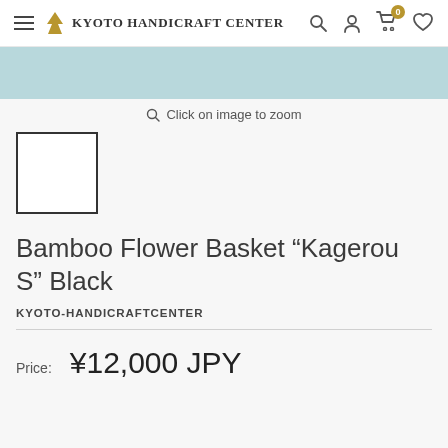Kyoto Handicraft Center
[Figure (other): Light blue banner image strip]
Click on image to zoom
[Figure (other): Small white product thumbnail with dark border]
Bamboo Flower Basket “Kagerou S” Black
KYOTO-HANDICRAFTCENTER
Price: ¥12,000 JPY